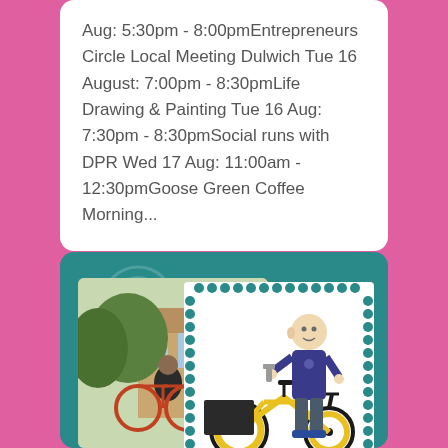Aug: 5:30pm - 8:00pmEntrepreneurs Circle Local Meeting Dulwich Tue 16 August: 7:00pm - 8:30pmLife Drawing & Painting Tue 16 Aug: 7:30pm - 8:30pmSocial runs with DPR Wed 17 Aug: 11:00am - 12:30pmGoose Green Coffee Morning...
[Figure (photo): Teal/green card with two images: a real photo of a bearded man working on a red bicycle outdoors in front of a house, and a cartoon/illustration of a bald man standing next to a yellow cargo/tandem bicycle holding a wrench, displayed with a scalloped white border.]